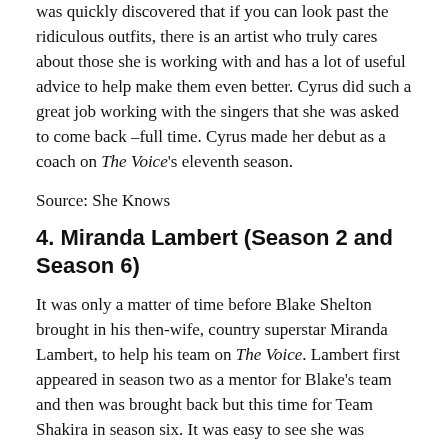was quickly discovered that if you can look past the ridiculous outfits, there is an artist who truly cares about those she is working with and has a lot of useful advice to help make them even better. Cyrus did such a great job working with the singers that she was asked to come back –full time. Cyrus made her debut as a coach on The Voice's eleventh season.
Source: She Knows
4. Miranda Lambert (Season 2 and Season 6)
It was only a matter of time before Blake Shelton brought in his then-wife, country superstar Miranda Lambert, to help his team on The Voice. Lambert first appeared in season two as a mentor for Blake's team and then was brought back but this time for Team Shakira in season six. It was easy to see she was brought in to see her interactions with her then-husband, but she proved to be a really good mentor as well. She had a welcoming personality which meant the singers warmed up to her quickly, but her knowledge of performing and what it takes to make an